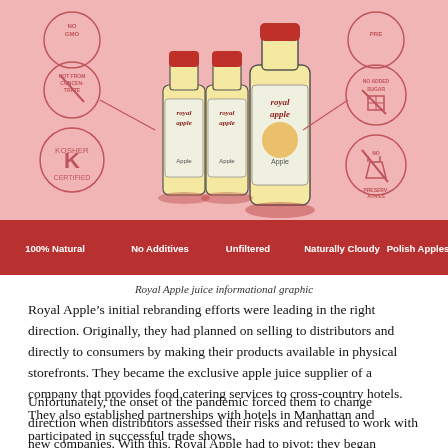[Figure (infographic): Royal Apple juice informational graphic showing product bottles (two small and one large) surrounded by certification icons: No GMO, Not from Concentrate, Kosher Certified, No Added Sugar, No Preservatives. Bottom red banner lists: 100% Natural, No Additives, Unfiltered, Naturally Cloudy, Polish Apples.]
Royal Apple juice informational graphic
Royal Apple’s initial rebranding efforts were leading in the right direction. Originally, they had planned on selling to distributors and directly to consumers by making their products available in physical storefronts. They became the exclusive apple juice supplier of a company that provides food catering services to cross-country hotels. They also established partnerships with hotels in Manhattan and participated in successful trade shows.
Unfortunately, the onset of the pandemic forced them to change direction when distributors assessed their risks and refused to work with new companies. With this, Royal Apple had to pivot; they began focusing on engaging consumers via their website and through large online retailers. But this now